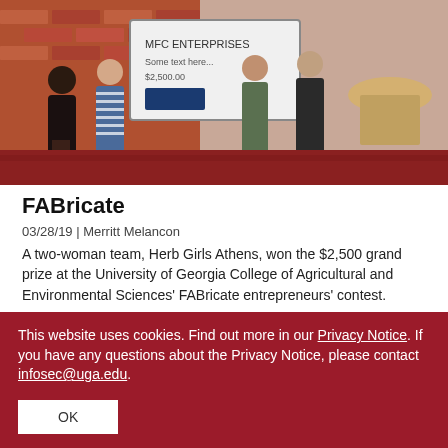[Figure (photo): Group of people posing indoors holding a large check or sign, brick wall visible in background, patterned carpet floor]
FABricate
03/28/19 | Merritt Melancon
A two-woman team, Herb Girls Athens, won the $2,500 grand prize at the University of Georgia College of Agricultural and Environmental Sciences' FABricate entrepreneurs' contest.
This website uses cookies. Find out more in our Privacy Notice. If you have any questions about the Privacy Notice, please contact infosec@uga.edu.
OK